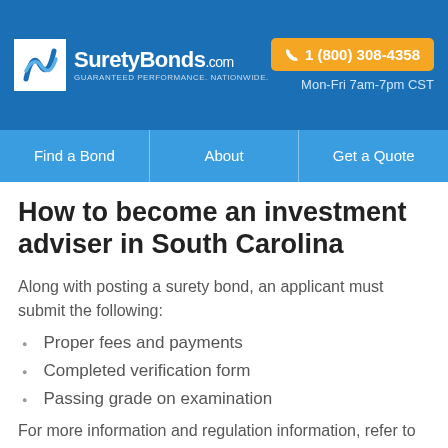[Figure (logo): SuretyBonds.com logo with S-wave icon, white text on blue header. Phone button: 1 (800) 308-4358 in orange. Hours: Mon-Fri 7am-7pm CST]
Find a Bond | About | Get a Quote
How to become an investment adviser in South Carolina
Along with posting a surety bond, an applicant must submit the following:
Proper fees and payments
Completed verification form
Passing grade on examination
For more information and regulation information, refer to